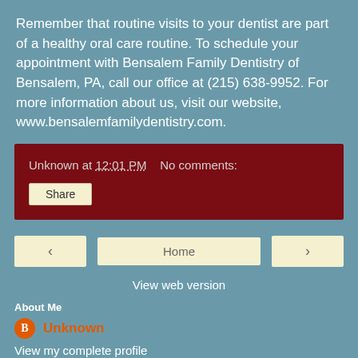Remember that routine visits to your dentist are part of a healthy oral care routine. To schedule your appointment with Bensalem Family Dentistry of Bensalem, PA, call our office at (215) 638-9952. For more information about us, visit our website, www.bensalemfamilydentistry.com.
Unknown at 12:01 PM   No comments:
Share
Home
View web version
About Me
Unknown
View my complete profile
Powered by Blogger.